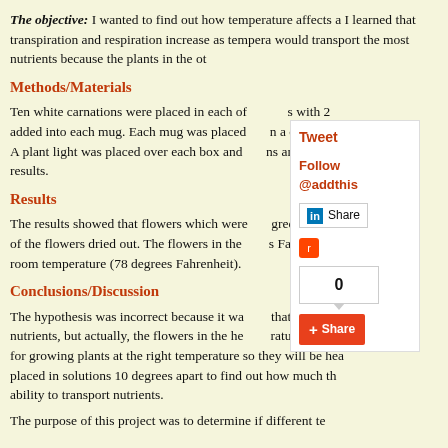The objective: I wanted to find out how temperature affects a... I learned that transpiration and respiration increase as tempera... would transport the most nutrients because the plants in the ot...
Methods/Materials
Ten white carnations were placed in each of ...s with 2... added into each mug. Each mug was placed ...n a diffe... A plant light was placed over each box and ...ns and n... results.
Results
The results showed that flowers which were ...grees Fa... of the flowers dried out. The flowers in the ...s Fahre... room temperature (78 degrees Fahrenheit).
Conclusions/Discussion
The hypothesis was incorrect because it wa... that the... nutrients, but actually, the flowers in the he... ...rature s... for growing plants at the right temperature so they will be hea... placed in solutions 10 degrees apart to find out how much th... ability to transport nutrients.
The purpose of this project was to determine if different te...